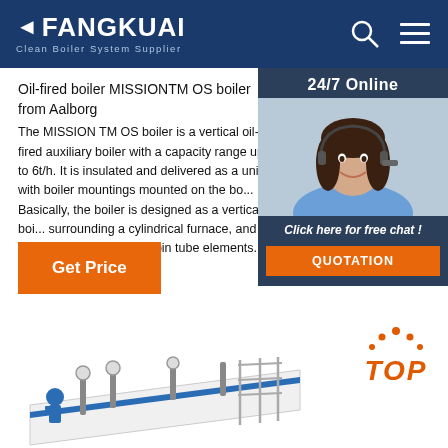FANGKUAI - Clean Boiler System Supplier
Oil-fired boiler MISSIONTM OS boiler from Aalborg
The MISSION TM OS boiler is a vertical oil-fired auxiliary boiler with a capacity range up to 6t/h. It is insulated and delivered as a unit with boiler mountings mounted on the boiler. Basically, the boiler is designed as a vertical boiler surrounding a cylindrical furnace, and a convection section consisting of pin tube elements.
Get Price
[Figure (photo): Customer service representative wearing headset, with 24/7 Online chat widget overlay showing 'Click here for free chat!' and a QUOTATION button]
[Figure (photo): Oil-fired boiler product image showing industrial boiler equipment with pipes and gauges, with a TOP button in the corner]